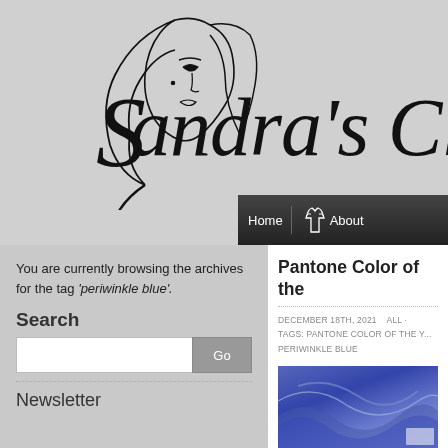[Figure (logo): Sandra's Cl... script/cursive logo with illustrated woman face line art, on gray background]
[Figure (screenshot): Navigation bar with Home and About links on dark background]
You are currently browsing the archives for the tag 'periwinkle blue'.
Search
[Figure (screenshot): Search input field with Go button]
Newsletter
Pantone Color of the
DECEMBER 18TH, 2021    ALL · TAGS: PANTONE COLOR OF THE... PERIWINKLE BLUE
[Figure (photo): Periwinkle blue colored image, partial view]